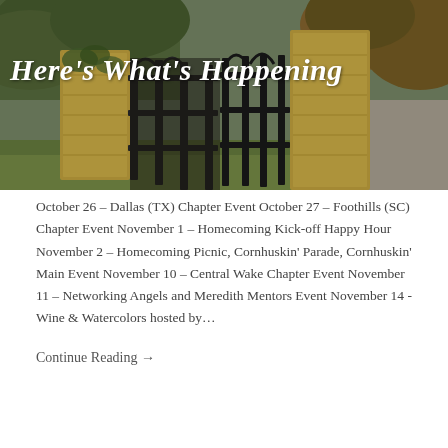[Figure (photo): A decorative iron gate set into a stone/brick wall surrounded by autumn trees and green grass, with the overlaid title text 'Here's What's Happening' in white cursive.]
Here's What's Happening
October 26 – Dallas (TX) Chapter Event October 27 – Foothills (SC) Chapter Event November 1 – Homecoming Kick-off Happy Hour November 2 – Homecoming Picnic, Cornhuskin' Parade, Cornhuskin' Main Event November 10 – Central Wake Chapter Event November 11 – Networking Angels and Meredith Mentors Event November 14 - Wine & Watercolors hosted by...
Continue Reading →